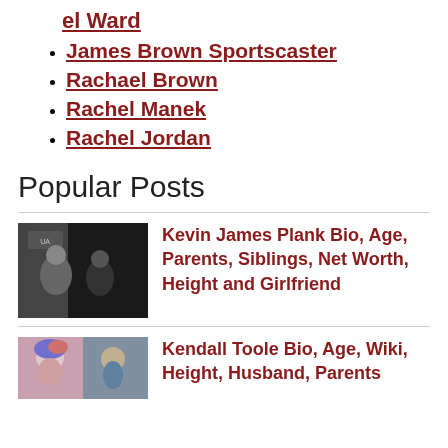el Ward
James Brown Sportscaster
Rachael Brown
Rachel Manek
Rachel Jordan
Popular Posts
[Figure (photo): Two men posing at an Under Armour event, one older in grey shirt and one younger in black jacket]
Kevin James Plank Bio, Age, Parents, Siblings, Net Worth, Height and Girlfriend
[Figure (photo): Woman with colorful hair and athletic build]
Kendall Toole Bio, Age, Wiki, Height, Husband, Parents